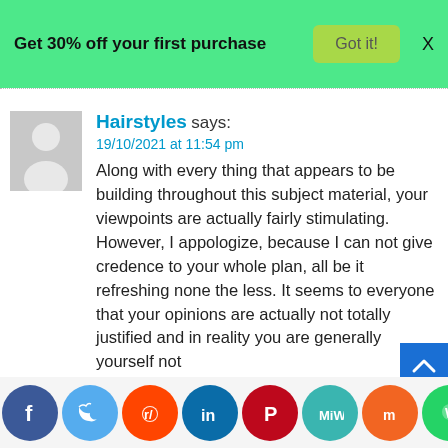Get 30% off your first purchase  Got it!  X
Hairstyles says:
19/10/2021 at 11:54 pm
Along with every thing that appears to be building throughout this subject material, your viewpoints are actually fairly stimulating. However, I appologize, because I can not give credence to your whole plan, all be it refreshing none the less. It seems to everyone that your opinions are actually not totally justified and in reality you are generally yourself not
[Figure (infographic): Social sharing buttons bar: Facebook, Twitter, Reddit, LinkedIn, Pinterest, MixW, Mix, WhatsApp, Share]